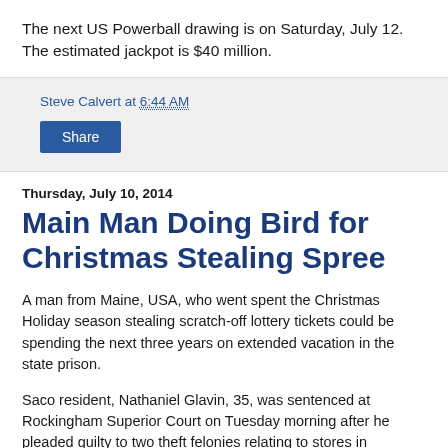The next US Powerball drawing is on Saturday, July 12. The estimated jackpot is $40 million.
Steve Calvert at 6:44 AM
Share
Thursday, July 10, 2014
Main Man Doing Bird for Christmas Stealing Spree
A man from Maine, USA, who went spent the Christmas Holiday season stealing scratch-off lottery tickets could be spending the next three years on extended vacation in the state prison.
Saco resident, Nathaniel Glavin, 35, was sentenced at Rockingham Superior Court on Tuesday morning after he pleaded guilty to two theft felonies relating to stores in